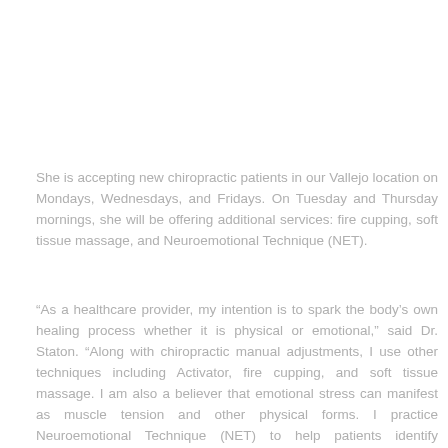She is accepting new chiropractic patients in our Vallejo location on Mondays, Wednesdays, and Fridays. On Tuesday and Thursday mornings, she will be offering additional services: fire cupping, soft tissue massage, and Neuroemotional Technique (NET).
“As a healthcare provider, my intention is to spark the body’s own healing process whether it is physical or emotional,” said Dr. Staton. “Along with chiropractic manual adjustments, I use other techniques including Activator, fire cupping, and soft tissue massage. I am also a believer that emotional stress can manifest as muscle tension and other physical forms. I practice Neuroemotional Technique (NET) to help patients identify underlying emotional patterns that are causing chronic pain.”